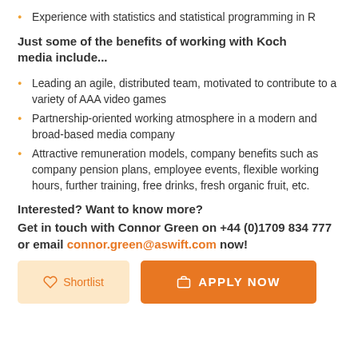Experience with statistics and statistical programming in R
Just some of the benefits of working with Koch media include...
Leading an agile, distributed team, motivated to contribute to a variety of AAA video games
Partnership-oriented working atmosphere in a modern and broad-based media company
Attractive remuneration models, company benefits such as company pension plans, employee events, flexible working hours, further training, free drinks, fresh organic fruit, etc.
Interested? Want to know more?
Get in touch with Connor Green on +44 (0)1709 834 777 or email connor.green@aswift.com now!
Shortlist | APPLY NOW